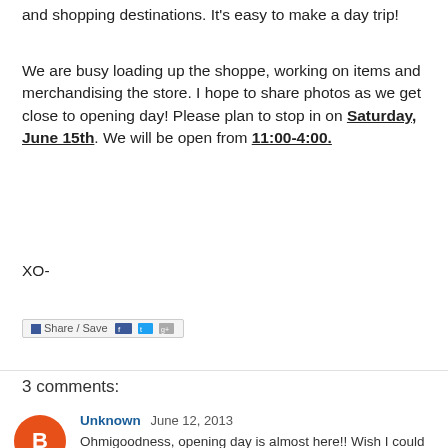and shopping destinations.  It's easy to make a day trip!
We are busy loading up the shoppe, working on items and merchandising the store.  I hope to share photos as we get close to opening day!  Please plan to stop in on Saturday, June 15th.  We will be open from 11:00-4:00.
XO-
[Figure (screenshot): Share/Save social sharing button bar with Facebook, Twitter and other icons]
Vintage Restyled at 7:00 AM
Share
3 comments:
Unknown  June 12, 2013
Ohmigoodness, opening day is almost here!! Wish I could come on opening day, but I'll be at work. Maybe I can come